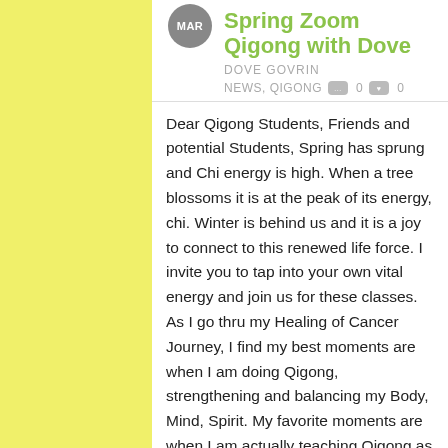Spring Zoom Qigong with Dove
DOVE GOVRIN
NEWS, QIGONG  0  0
Dear Qigong Students, Friends and potential Students, Spring has sprung and Chi energy is high. When a tree blossoms it is at the peak of its energy, chi. Winter is behind us and it is a joy to connect to this renewed life force. I invite you to tap into your own vital energy and join us for these classes. As I go thru my Healing of Cancer Journey, I find my best moments are when I am doing Qigong, strengthening and balancing my Body, Mind, Spirit. My favorite moments are when I am actually teaching Qigong as the Chi Field is stronger when more people participate. The fee is $10 per class, or $50 for unlimited classes per month, or $32 for Monday morning per month. Payment by